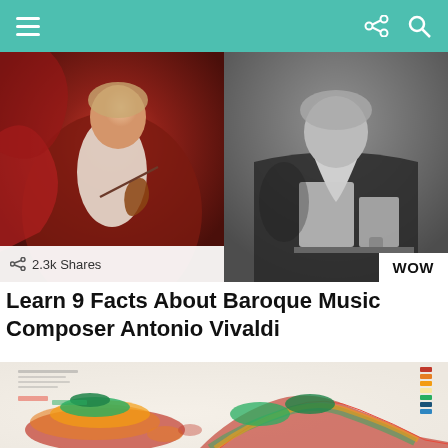Navigation bar with hamburger menu, share icon, and search icon
[Figure (photo): Split hero image: left side shows a Baroque-era oil painting of a musician playing violin in red and gold tones; right side shows a black and white engraving/photo of a man in Baroque dress reading or writing]
2.3k Shares
WOW
Learn 9 Facts About Baroque Music Composer Antonio Vivaldi
[Figure (photo): A colorful 3D relief map showing a geographical region with terrain elevation depicted in vivid colors — reds, oranges, greens, and yellows — with a legend on the right side]